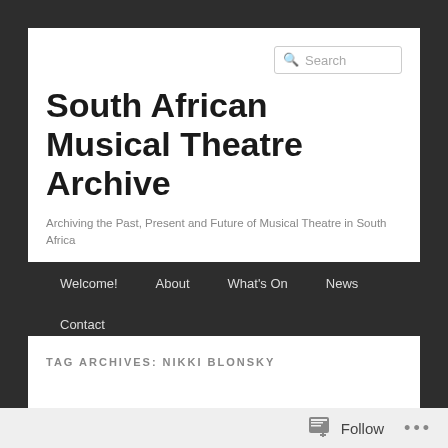South African Musical Theatre Archive
Archiving the Past, Present and Future of Musical Theatre in South Africa
Welcome!
About
What's On
News
Contact
TAG ARCHIVES: NIKKI BLONSKY
Follow